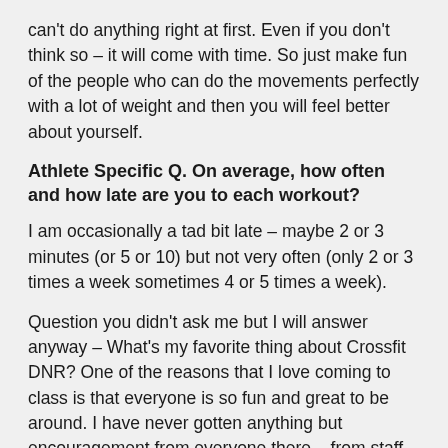can't do anything right at first.  Even if you don't think so – it will come with time.  So just make fun of the people who can do the movements perfectly with a lot of weight and then you will feel better about yourself.
Athlete Specific Q. On average, how often and how late are you to each workout?
I am occasionally a tad bit late – maybe 2 or 3 minutes (or 5 or 10) but not very often (only 2 or 3 times a week sometimes 4 or 5 times a week).
Question you didn't ask me but I will answer anyway – What's my favorite thing about Crossfit DNR? One of the reasons that I love coming to class is that everyone is so fun and great to be around.  I have never gotten anything but encouragement from everyone there – from staff (which they are paid for ) but also tons of encouragement from